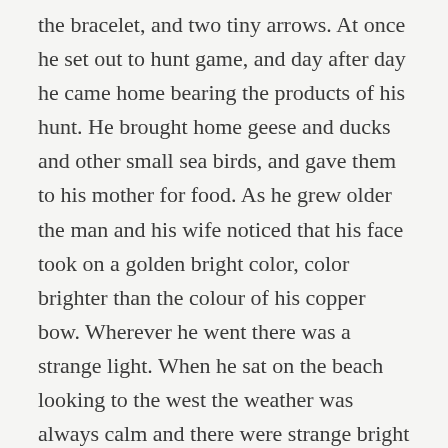the bracelet, and two tiny arrows. At once he set out to hunt game, and day after day he came home bearing the products of his hunt. He brought home geese and ducks and other small sea birds, and gave them to his mother for food. As he grew older the man and his wife noticed that his face took on a golden bright color, color brighter than the colour of his copper bow. Wherever he went there was a strange light. When he sat on the beach looking to the west the weather was always calm and there were strange bright gleams upon the water. And his foster-parents wondered greatly at this unusual power. But the boy would not talk about it; when they spoke of it he was always silent.